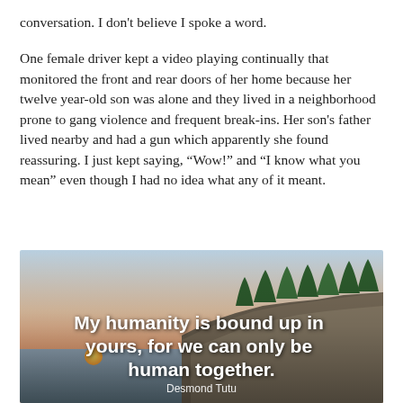conversation. I don't believe I spoke a word.
One female driver kept a video playing continually that monitored the front and rear doors of her home because her twelve year-old son was alone and they lived in a neighborhood prone to gang violence and frequent break-ins. Her son's father lived nearby and had a gun which apparently she found reassuring. I just kept saying, “Wow!” and “I know what you mean” even though I had no idea what any of it meant.
[Figure (photo): A scenic coastal landscape at sunset with rocky cliffs, green trees, and calm water. Overlaid with a bold white quote: 'My humanity is bound up in yours, for we can only be human together.' attributed to Desmond Tutu.]